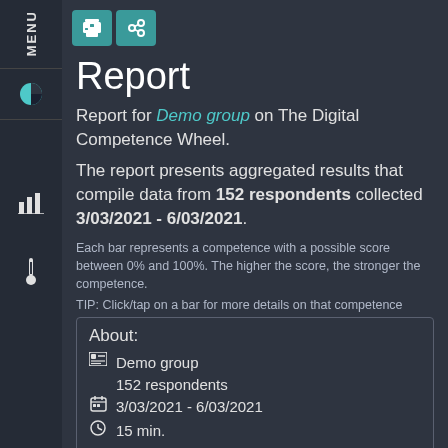[Figure (screenshot): Sidebar navigation with MENU label, pie chart icon, bar chart icon, and thermometer icon]
[Figure (other): Toolbar with print button and link/share button in teal color]
Report
Report for Demo group on The Digital Competence Wheel.
The report presents aggregated results that compile data from 152 respondents collected 3/03/2021 - 6/03/2021.
Each bar represents a competence with a possible score between 0% and 100%. The higher the score, the stronger the competence.
TIP: Click/tap on a bar for more details on that competence
| About: |
| [group icon] Demo group |  |
|  | 152 respondents |
| [calendar icon] 3/03/2021 - 6/03/2021 |  |
| [clock icon] 15 min. |  |
Digital Competence...